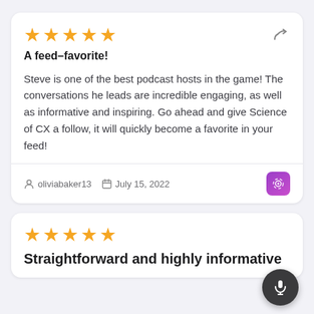A feed-favorite!
Steve is one of the best podcast hosts in the game! The conversations he leads are incredible engaging, as well as informative and inspiring. Go ahead and give Science of CX a follow, it will quickly become a favorite in your feed!
oliviabaker13   July 15, 2022
Straightforward and highly informative